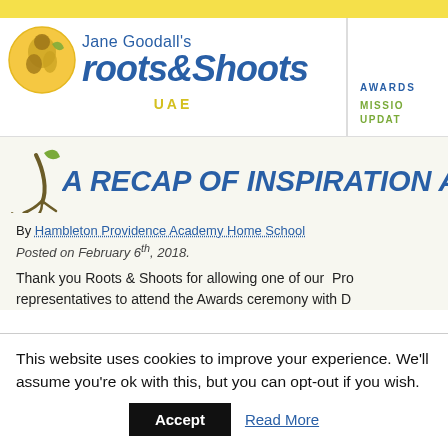[Figure (logo): Jane Goodall's Roots & Shoots UAE logo with circular emblem, blue text, and yellow UAE label]
AWARDS | MISSION UPDATE
A RECAP OF INSPIRATION AND I...
By Hambleton Providence Academy Home School
Posted on February 6th, 2018.
Thank you Roots & Shoots for allowing one of our Pro representatives to attend the Awards ceremony with D
This website uses cookies to improve your experience. We'll assume you're ok with this, but you can opt-out if you wish.